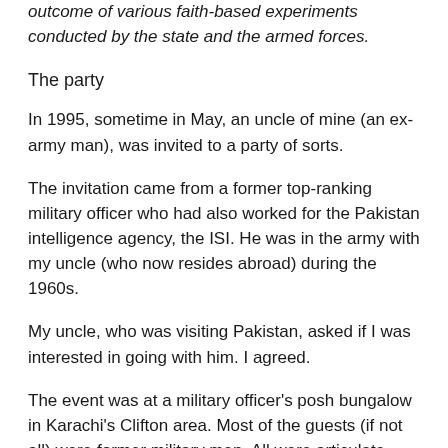outcome of various faith-based experiments conducted by the state and the armed forces.
The party
In 1995, sometime in May, an uncle of mine (an ex-army man), was invited to a party of sorts.
The invitation came from a former top-ranking military officer who had also worked for the Pakistan intelligence agency, the ISI. He was in the army with my uncle (who now resides abroad) during the 1960s.
My uncle, who was visiting Pakistan, asked if I was interested in going with him. I agreed.
The event was at a military officer's posh bungalow in Karachi's Clifton area. Most of the guests (if not all) were former military men. All were articulate, spoke fluent English